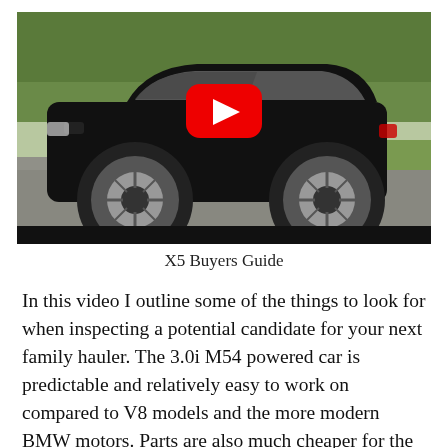[Figure (screenshot): YouTube video thumbnail showing a black BMW X5 SUV parked on a road with green trees in the background, with a YouTube play button overlay in the center.]
X5 Buyers Guide
In this video I outline some of the things to look for when inspecting a potential candidate for your next family hauler. The 3.0i M54 powered car is predictable and relatively easy to work on compared to V8 models and the more modern BMW motors. Parts are also much cheaper for the M54, many maintenance items are a fraction of the cost for the same item on a more